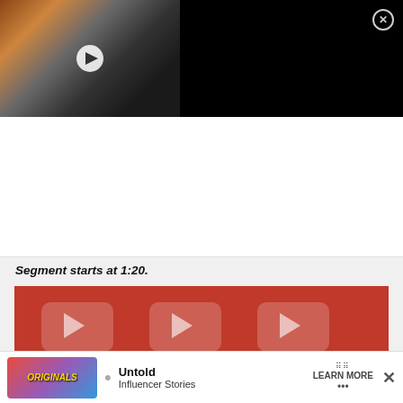[Figure (screenshot): Video thumbnail of a man speaking into a microphone with glasses, dark background with colorful studio lighting]
Bagel Bites: DIVIDING The Internet
Segment starts at 1:20.
[Figure (screenshot): YouTube Originals thumbnail featuring three influencers/content creators on a red background with YouTube play button logos]
[Figure (screenshot): Advertisement banner: Untold Influencer Stories - LEARN MORE]